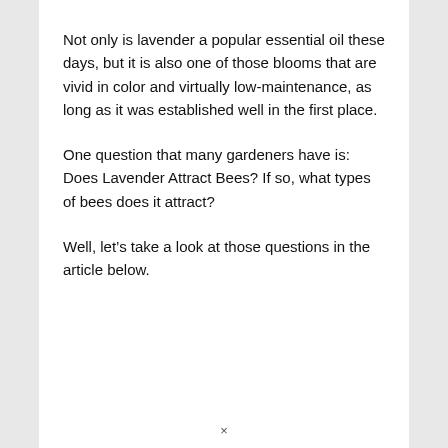Not only is lavender a popular essential oil these days, but it is also one of those blooms that are vivid in color and virtually low-maintenance, as long as it was established well in the first place.
One question that many gardeners have is: Does Lavender Attract Bees? If so, what types of bees does it attract?
Well, let’s take a look at those questions in the article below.
×